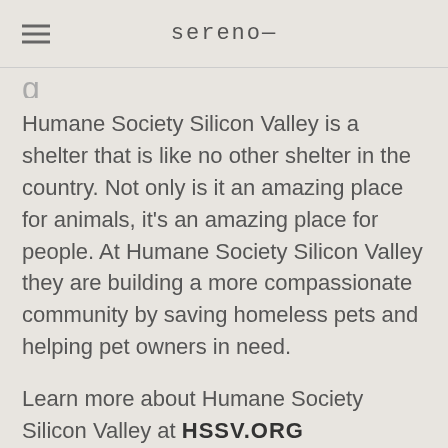sereno—
Humane Society Silicon Valley is a shelter that is like no other shelter in the country. Not only is it an amazing place for animals, it's an amazing place for people. At Humane Society Silicon Valley they are building a more compassionate community by saving homeless pets and helping pet owners in need.
Learn more about Humane Society Silicon Valley at HSSV.ORG